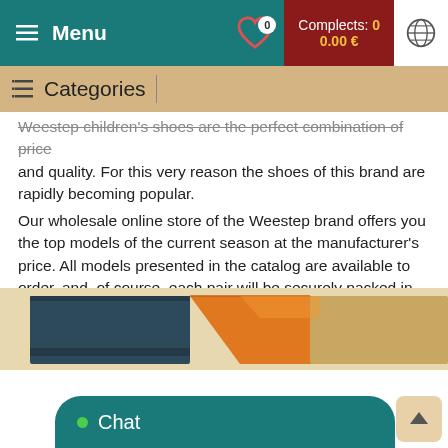Menu | Complects: 0 | 0.00 €
Categories
Weestep children's shoes are the perfect combination of price and quality. For this very reason the shoes of this brand are rapidly becoming popular. Our wholesale online store of the Weestep brand offers you the top models of the current season at the manufacturer's price. All models presented in the catalog are available to order, and, of course, each pair will be securely packed in an individual box. The quality and price will please you; we guarantee it!
[Figure (photo): Partial view of colorful shoe boxes stacked together, showing dark teal, orange, and tan colored boxes]
Chat